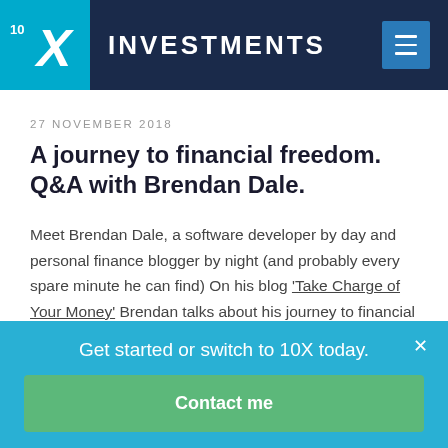10X INVESTMENTS
27 NOVEMBER 2018
A journey to financial freedom. Q&A with Brendan Dale.
Meet Brendan Dale, a software developer by day and personal finance blogger by night (and probably every spare minute he can find) On his blog 'Take Charge of Your Money' Brendan talks about his journey to financial freedom and the lessons he's learning along the way. We
Get started or switch to 10X today.
Contact me